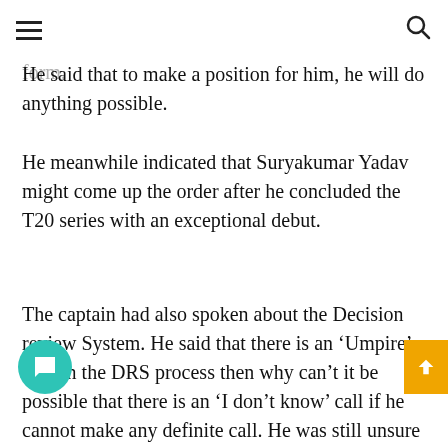[hamburger menu] [search icon]
future. He also expressed his support for Suryakumar Yadav, who has been in excellent form. He said that to make a position for him, he will do anything possible.
He meanwhile indicated that Suryakumar Yadav might come up the order after he concluded the T20 series with an exceptional debut.
The captain had also spoken about the Decision review System. He said that there is an ‘Umpire’s call’ in the DRS process then why can’t it be possible that there is an ‘I don’t know’ call if he cannot make any definite call. He was still unsure about the Umpire’s call as he felt that there are all kinds of possibilities and it is possible that grey areas go